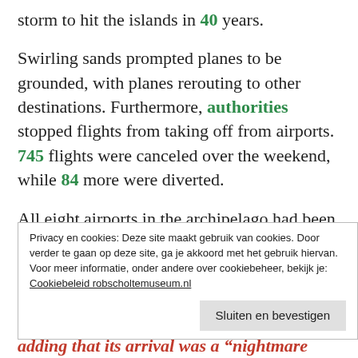storm to hit the islands in 40 years.
Swirling sands prompted planes to be grounded, with planes rerouting to other destinations. Furthermore, authorities stopped flights from taking off from airports. 745 flights were canceled over the weekend, while 84 more were diverted.
All eight airports in the archipelago had been closed on Saturday, February 22, due to powerful winds and lowvisibility. As a
Privacy en cookies: Deze site maakt gebruik van cookies. Door verder te gaan op deze site, ga je akkoord met het gebruik hiervan.
Voor meer informatie, onder andere over cookiebeheer, bekijk je:
Cookiebeleid robscholtemuseum.nl
Sluiten en bevestigen
adding that its arrival was a "nightmare